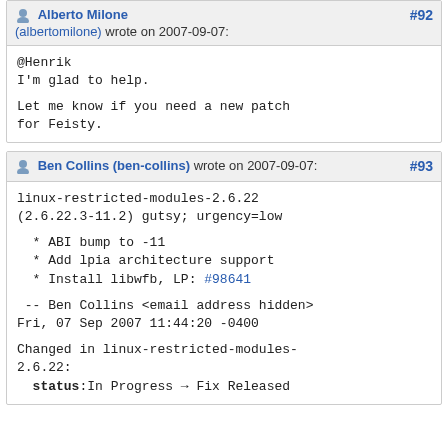Alberto Milone (albertomilone) wrote on 2007-09-07: #92
@Henrik
I'm glad to help.

Let me know if you need a new patch for Feisty.
Ben Collins (ben-collins) wrote on 2007-09-07: #93
linux-restricted-modules-2.6.22 (2.6.22.3-11.2) gutsy; urgency=low

  * ABI bump to -11
  * Add lpia architecture support
  * Install libwfb, LP: #98641

 -- Ben Collins <email address hidden>
Fri, 07 Sep 2007 11:44:20 -0400

Changed in linux-restricted-modules-2.6.22:
  status: In Progress → Fix Released